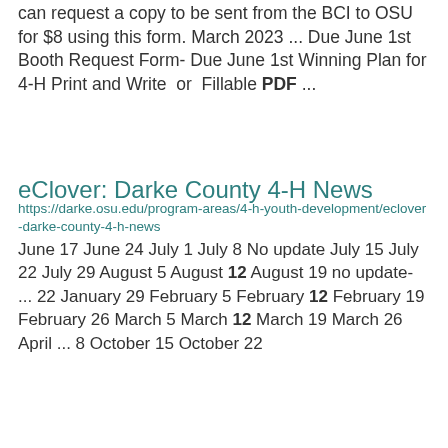can request a copy to be sent from the BCI to OSU for $8 using this form. March 2023 ... Due June 1st Booth Request Form- Due June 1st Winning Plan for 4-H Print and Write or Fillable PDF ...
eClover: Darke County 4-H News
https://darke.osu.edu/program-areas/4-h-youth-development/eclover-darke-county-4-h-news
June 17 June 24 July 1 July 8 No update July 15 July 22 July 29 August 5 August 12 August 19 no update- ... 22 January 29 February 5 February 12 February 19 February 26 March 5 March 12 March 19 March 26 April ... 8 October 15 October 22